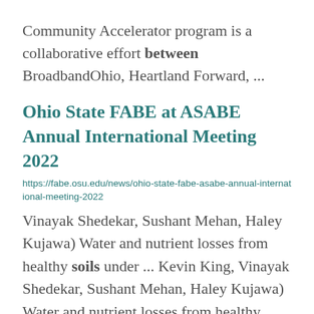Community Accelerator program is a collaborative effort between BroadbandOhio, Heartland Forward, ...
Ohio State FABE at ASABE Annual International Meeting 2022
https://fabe.osu.edu/news/ohio-state-fabe-asabe-annual-international-meeting-2022
Vinayak Shedekar, Sushant Mehan, Haley Kujawa) Water and nutrient losses from healthy soils under ... Kevin King, Vinayak Shedekar, Sushant Mehan, Haley Kujawa) Water and nutrient losses from healthy soils ... Khanal, Alexis Londo) Evaluation of PWM solenoid valves to manipulate...